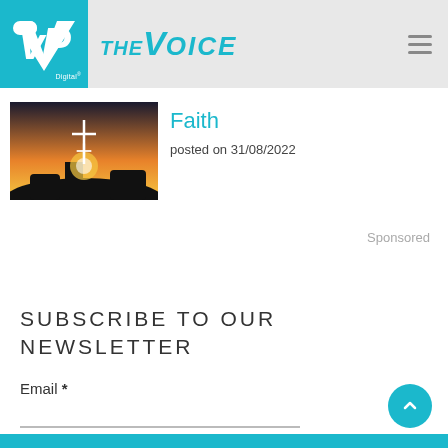VP Digital | THE VOICE
[Figure (photo): Thumbnail image of a cross silhouette against a sunset sky with rocks]
Faith
posted on 31/08/2022
Sponsored
SUBSCRIBE TO OUR NEWSLETTER
Email *